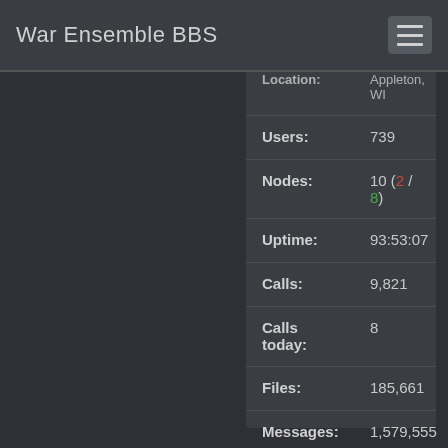War Ensemble BBS
| Label | Value |
| --- | --- |
| Location: | Appleton, WI |
| Users: | 739 |
| Nodes: | 10 (2 / 8) |
| Uptime: | 93:53:07 |
| Calls: | 9,821 |
| Calls today: | 8 |
| Files: | 185,661 |
| Messages: | 1,579,555 |
| Posted today: | 2 |